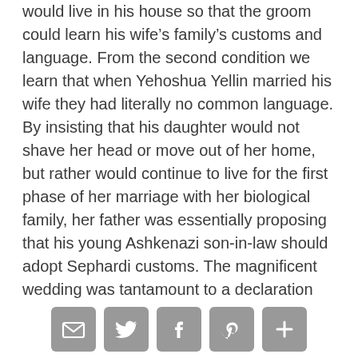would live in his house so that the groom could learn his wife's family's customs and language. From the second condition we learn that when Yehoshua Yellin married his wife they had literally no common language. By insisting that his daughter would not shave her head or move out of her home, but rather would continue to live for the first phase of her marriage with her biological family, her father was essentially proposing that his young Ashkenazi son-in-law should adopt Sephardi customs. The magnificent wedding was tantamount to a declaration that intercommunal marriage was a respectable practice.

Although the Jerusalem community as a whole was
[Figure (other): Social sharing icons: email, Twitter, Facebook, Pinterest, and a plus/add button]